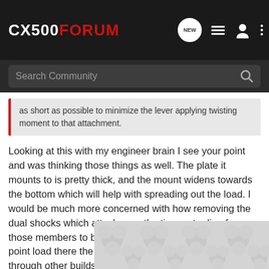CX500FORUM
as short as possible to minimize the lever applying twisting moment to that attachment.
Looking at this with my engineer brain I see your point and was thinking those things as well. The plate it mounts to is pretty thick, and the mount widens towards the bottom which will help with spreading out the load. I would be much more concerned with how removing the dual shocks which attach near the tire center line forces those members to become a cantilever beam than the point load there the shock mount is welded. Looking through other builds I don't see a lot of people addressing that or having issues with it. Since the shock is in compression I'm more at ease with it. The point at the top where the shock mounts
[Figure (photo): Partially visible image at bottom right of the page, showing a mechanical/motorcycle part with a tiled background pattern of grey circles/lobes.]